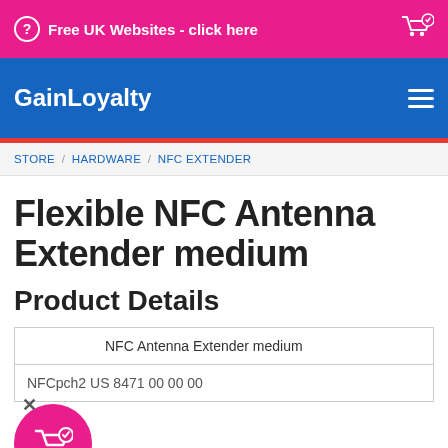Free UK Websites - click here
GainLoyalty
STORE / HARDWARE / NFC EXTENDER
Flexible NFC Antenna Extender medium
Product Details
| NFC Antenna Extender medium |
| NFCpch2 US 8471 00 00 00 |